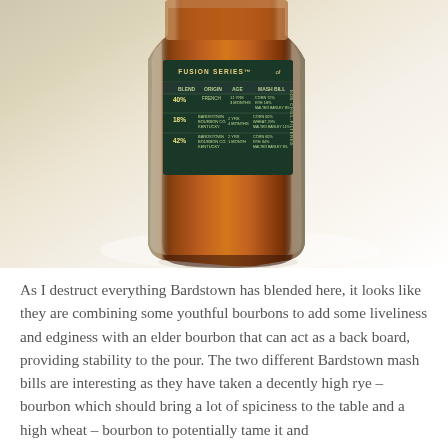[Figure (photo): A glass whiskey bottle with amber liquid and a dark green label reading 'Fusion Series' with a blend/origin/age/mash bill table, photographed on a light surface.]
As I destruct everything Bardstown has blended here, it looks like they are combining some youthful bourbons to add some liveliness and edginess with an elder bourbon that can act as a back board, providing stability to the pour. The two different Bardstown mash bills are interesting as they have taken a decently high rye – bourbon which should bring a lot of spiciness to the table and a high wheat – bourbon to potentially tame it and